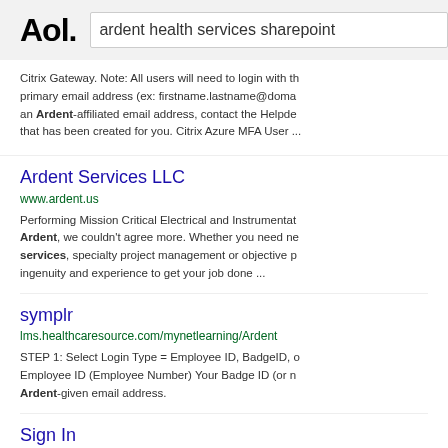Aol.  ardent health services sharepoint
Citrix Gateway. Note: All users will need to login with th primary email address (ex: firstname.lastname@doma an Ardent-affiliated email address, contact the Helpde that has been created for you. Citrix Azure MFA User ...
Ardent Services LLC
www.ardent.us
Performing Mission Critical Electrical and Instrumentat Ardent, we couldn't agree more. Whether you need ne services, specialty project management or objective p ingenuity and experience to get your job done ...
symplr
lms.healthcaresource.com/mynetlearning/Ardent
STEP 1: Select Login Type = Employee ID, BadgeID, o Employee ID (Employee Number) Your Badge ID (or n Ardent-given email address.
Sign In
ardentbenefits.ehr.com/ESS